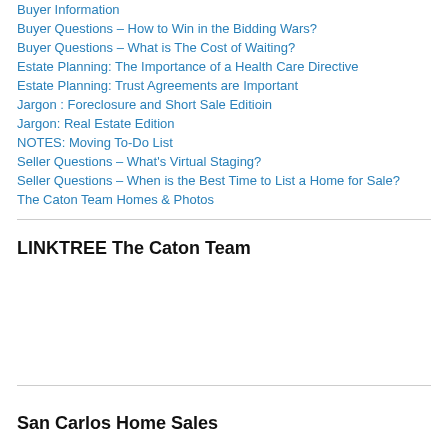Buyer Information
Buyer Questions – How to Win in the Bidding Wars?
Buyer Questions – What is The Cost of Waiting?
Estate Planning: The Importance of a Health Care Directive
Estate Planning: Trust Agreements are Important
Jargon : Foreclosure and Short Sale Editioin
Jargon: Real Estate Edition
NOTES: Moving To-Do List
Seller Questions – What's Virtual Staging?
Seller Questions – When is the Best Time to List a Home for Sale?
The Caton Team Homes & Photos
LINKTREE The Caton Team
San Carlos Home Sales